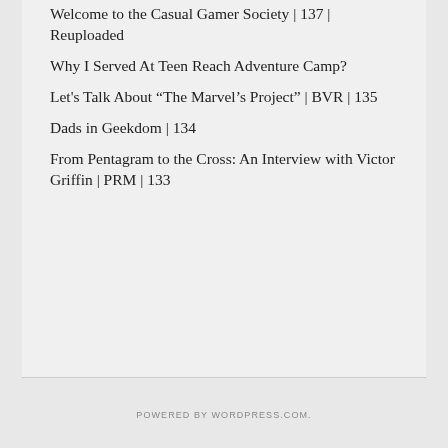Welcome to the Casual Gamer Society | 137 | Reuploaded
Why I Served At Teen Reach Adventure Camp?
Let's Talk About "The Marvel's Project" | BVR | 135
Dads in Geekdom | 134
From Pentagram to the Cross: An Interview with Victor Griffin | PRM | 133
POWERED BY WORDPRESS.COM.